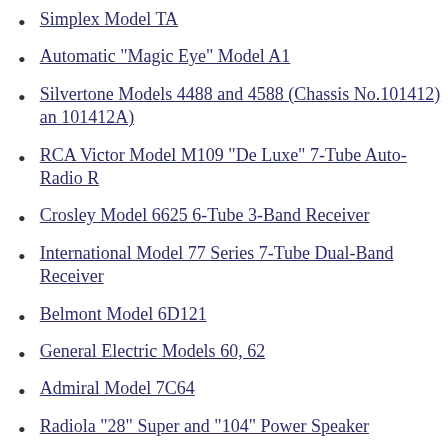Simplex Model TA
Automatic "Magic Eye" Model A1
Silvertone Models 4488 and 4588 (Chassis No.101412) and 101412A)
RCA Victor Model M109 "De Luxe" 7-Tube Auto-Radio R
Crosley Model 6625 6-Tube 3-Band Receiver
International Model 77 Series 7-Tube Dual-Band Receiver
Belmont Model 6D121
General Electric Models 60, 62
Admiral Model 7C64
Radiola "28" Super and "104" Power Speaker
Sonora Model TW-49